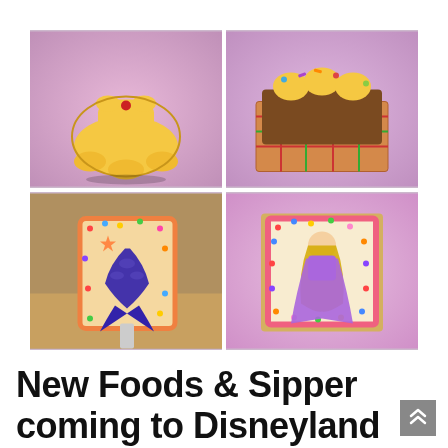[Figure (photo): Four-panel photo grid showing Disney princess-themed desserts: top-left is a yellow Belle dress-shaped sugar cookie with a red gem; top-right is a brownie or cupcake in a checkered box topped with yellow frosting flowers and sprinkles; bottom-left is a rice crispy treat on a stick decorated with a mermaid tail (Ariel) and colorful sprinkles; bottom-right is a rectangular treat decorated with a princess figure and colorful sprinkles, shown against a pink bokeh background.]
New Foods & Sipper coming to Disneyland for